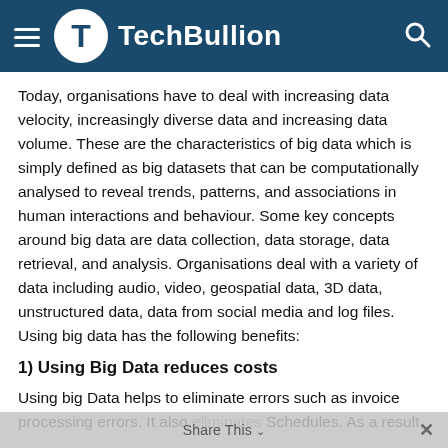TechBullion
Today, organisations have to deal with increasing data velocity, increasingly diverse data and increasing data volume. These are the characteristics of big data which is simply defined as big datasets that can be computationally analysed to reveal trends, patterns, and associations in human interactions and behaviour. Some key concepts around big data are data collection, data storage, data retrieval, and analysis. Organisations deal with a variety of data including audio, video, geospatial data, 3D data, unstructured data, data from social media and log files. Using big data has the following benefits:
1) Using Big Data reduces costs
Using big Data helps to eliminate errors such as invoice processing errors. It also eliminates Schedules. As a result,